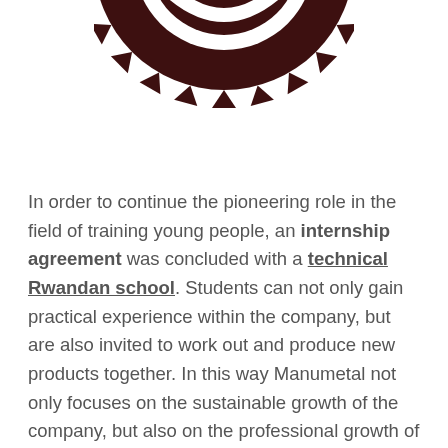[Figure (logo): Circular saw blade logo in dark brown/maroon color, partially cropped at top of page]
In order to continue the pioneering role in the field of training young people, an internship agreement was concluded with a technical Rwandan school. Students can not only gain practical experience within the company, but are also invited to work out and produce new products together. In this way Manumetal not only focuses on the sustainable growth of the company, but also on the professional growth of ambitious Rwandan youngsters!